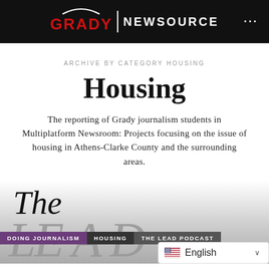GRADY NEWSOURCE
ARCHIVE BY CATEGORY HOUSING
Housing
The reporting of Grady journalism students in Multiplatform Newsroom: Projects focusing on the issue of housing in Athens-Clarke County and the surrounding areas.
[Figure (illustration): Large italic text reading 'The LEAD' partially visible, forming masthead of 'The Lead Podcast' article preview]
DOING JOURNALISM
HOUSING
THE LEAD PODCAST
English